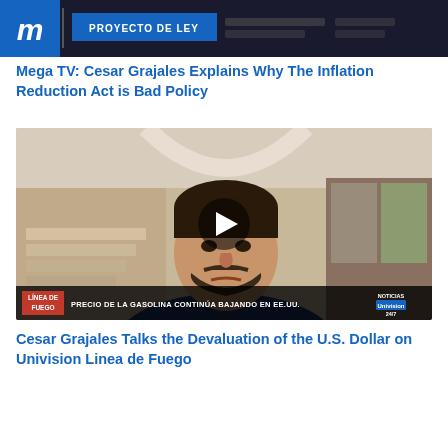[Figure (screenshot): Top thumbnail image showing a TV broadcast with a blue logo on left and 'PROYECTO DE LEY' label on a dark background]
Mega TV: Cesar Grajales Explains Why The Inflation Reduction Act is Bad Policy
[Figure (screenshot): Video thumbnail of a man (Cesar Grajales) being interviewed via video call, with a play button overlay. Lower bar shows 'LÍNEA DE FUEGO' and ticker text 'PRECIO DE LA GASOLINA CONTINÚA BAJANDO EN EE.UU.' with Noticias Univision 24/7 logo.]
Cesar Grajales Talks the Devaluation of the U.S. Dollar on Univision Linea de Fuego